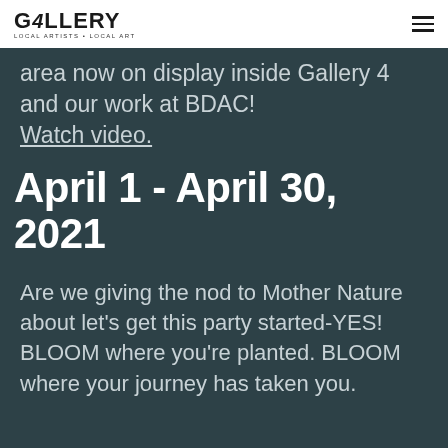GALLERY 4 LOCAL ARTISTS · LOCAL ART
area now on display inside Gallery 4 and our work at BDAC!
Watch video.
April 1 - April 30, 2021
Are we giving the nod to Mother Nature about let's get this party started-YES! BLOOM where you're planted. BLOOM where your journey has taken you.